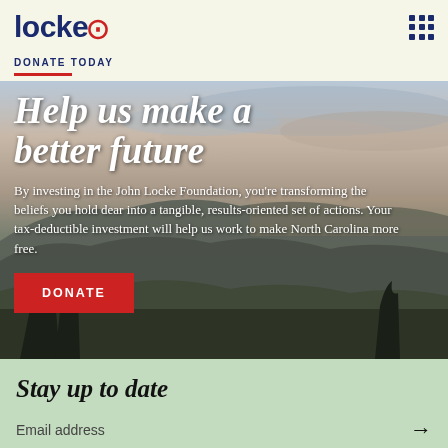locke
DONATE TODAY
[Figure (photo): Scenic mountain landscape at dusk with rolling hills, sparse trees in foreground, and dramatic cloudy sky in shades of blue, purple, and orange]
Help us make a better future
By investing in the John Locke Foundation, you're transforming the beliefs you hold dear into a tangible, results-oriented set of actions. Your tax-deductible investment will help us work to make North Carolina more free.
DONATE
Stay up to date
Email address